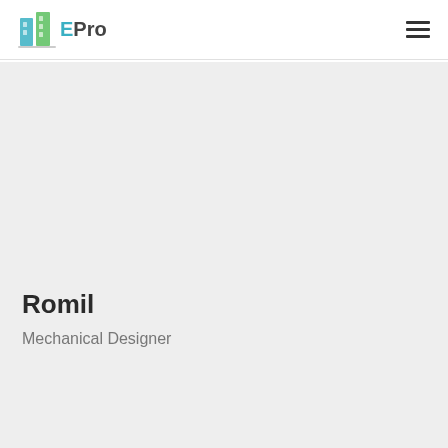EPro
Romil
Mechanical Designer